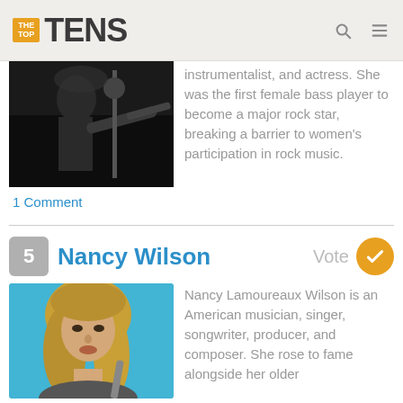THE TOP TENS
[Figure (photo): Partial photo of a female musician playing bass guitar on a dark stage]
instrumentalist, and actress. She was the first female bass player to become a major rock star, breaking a barrier to women's participation in rock music.
1 Comment
5 Nancy Wilson
Vote
[Figure (photo): Photo of Nancy Wilson with blonde hair against a blue background]
Nancy Lamoureaux Wilson is an American musician, singer, songwriter, producer, and composer. She rose to fame alongside her older